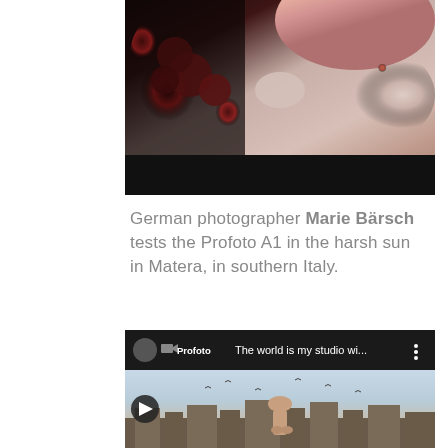[Figure (photo): Top portion of a fashion/portrait photo showing a woman with pink hair holding dark red flowers, wearing a lace embroidered garment, with a black bar at the bottom]
German photographer Marie Bärsch tests the Profoto A1 in the harsh sun in Matera, in southern Italy.
[Figure (screenshot): YouTube video thumbnail showing Profoto channel video titled 'The world is my studio wi...' with an outdoor scene of a woman posing in front of a hillside town, likely Matera]